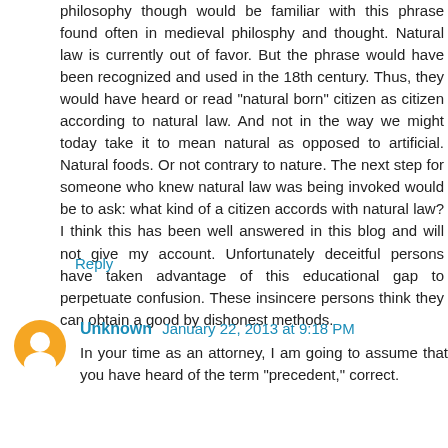philosophy though would be familiar with this phrase found often in medieval philosphy and thought. Natural law is currently out of favor. But the phrase would have been recognized and used in the 18th century. Thus, they would have heard or read "natural born" citizen as citizen according to natural law. And not in the way we might today take it to mean natural as opposed to artificial. Natural foods. Or not contrary to nature. The next step for someone who knew natural law was being invoked would be to ask: what kind of a citizen accords with natural law? I think this has been well answered in this blog and will not give my account. Unfortunately deceitful persons have taken advantage of this educational gap to perpetuate confusion. These insincere persons think they can obtain a good by dishonest methods.
Reply
Unknown  January 22, 2013 at 9:18 PM
In your time as an attorney, I am going to assume that you have heard of the term "precedent," correct.